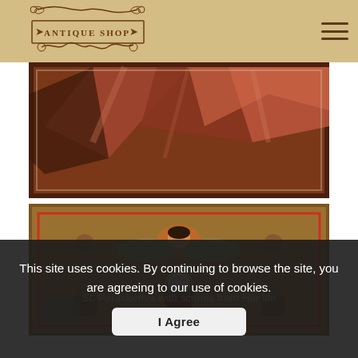[Figure (logo): Antique Shop ornate logo with scrollwork and text ANTIQUE SHOP]
[Figure (photo): Close-up detail of an antique icon painting showing drapery in dark red and brown tones]
[Figure (photo): Antique icon painting of St. Paraskeeva with scenes from Her life, showing a figure with halo surrounded by narrative scenes on gold-brown background]
St. Paraskeeva with scenes from Her life
825.00 €
This site uses cookies. By continuing to browse the site, you are agreeing to our use of cookies.
I Agree